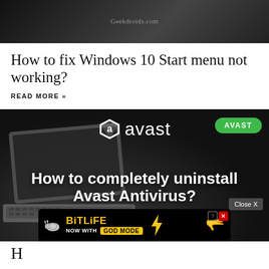[Figure (photo): Dark background header photo of a laptop keyboard, with Geekdroids.com watermark in center]
How to fix Windows 10 Start menu not working?
READ MORE »
[Figure (screenshot): Avast antivirus promotional banner on dark background with laptop image. Shows avast logo and text 'How to completely uninstall Avast Antivirus?' with a Close X button and BitLife ad overlay at bottom.]
H